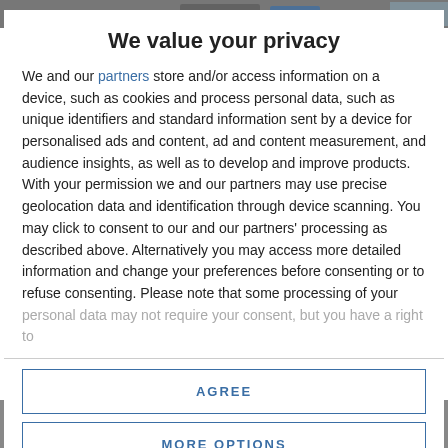[Figure (screenshot): Top navigation bar strip of a website, partially obscured]
We value your privacy
We and our partners store and/or access information on a device, such as cookies and process personal data, such as unique identifiers and standard information sent by a device for personalised ads and content, ad and content measurement, and audience insights, as well as to develop and improve products. With your permission we and our partners may use precise geolocation data and identification through device scanning. You may click to consent to our and our partners' processing as described above. Alternatively you may access more detailed information and change your preferences before consenting or to refuse consenting. Please note that some processing of your personal data may not require your consent, but you have a right to
AGREE
MORE OPTIONS
[Figure (photo): Bottom portion of a webpage showing a photo, partially visible]